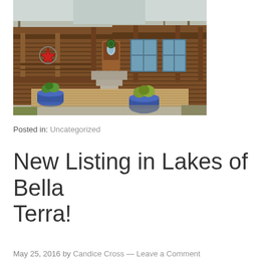[Figure (photo): Exterior photo of a rustic wooden cabin/house with a covered front porch, decorative red star, wreath on door, stone foundation steps, and two blue flower pots in the foreground. Bare trees visible in background.]
Posted in: Uncategorized
New Listing in Lakes of Bella Terra!
May 25, 2016 by Candice Cross — Leave a Comment